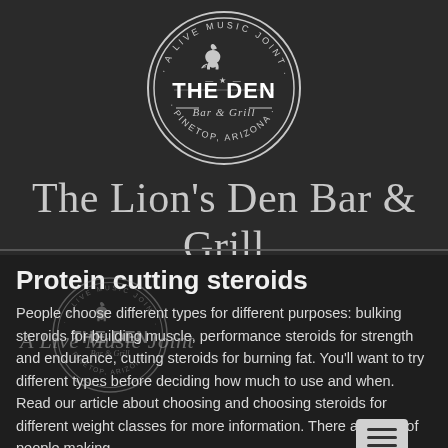[Figure (logo): The Den Bar & Grill circular logo - A Live Music Joint, Pinetop Arizona, with lion illustration]
The Lion's Den Bar & Grill
Protein cutting steroids
People choose different types for different purposes: bulking steroids for building muscle, performance steroids for strength and endurance, cutting steroids for burning fat. You'll want to try different types before deciding how much to use and when. Read our article about choosing and choosing steroids for different weight classes for more information. There are a lot of people making